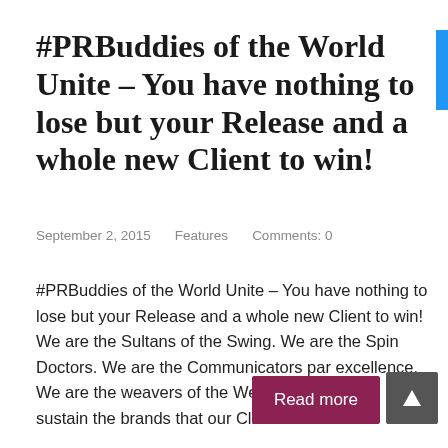#PRBuddies of the World Unite – You have nothing to lose but your Release and a whole new Client to win!
September 2, 2015    Features    Comments: 0
#PRBuddies of the World Unite – You have nothing to lose but your Release and a whole new Client to win!  We are the Sultans of the Swing. We are the Spin Doctors. We are the Communicators par excellence. We are the weavers of the Webs that build and sustain the brands that our Clients ...